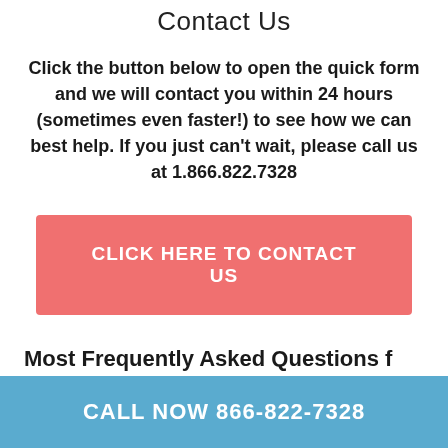Contact Us
Click the button below to open the quick form and we will contact you within 24 hours (sometimes even faster!) to see how we can best help. If you just can't wait, please call us at 1.866.822.7328
[Figure (other): A salmon/coral colored call-to-action button with white uppercase text reading CLICK HERE TO CONTACT US]
Most Frequently Asked Questions f
CALL NOW 866-822-7328